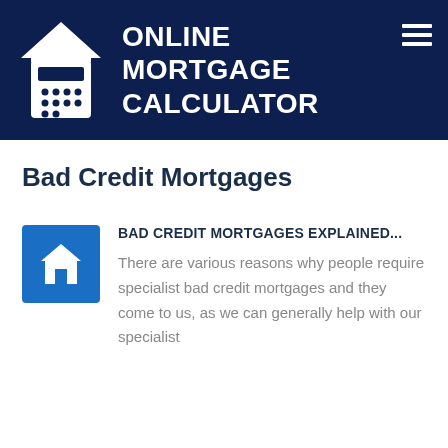[Figure (logo): Online Mortgage Calculator logo: house/calculator icon with white text 'ONLINE MORTGAGE CALCULATOR' on dark navy background, with hamburger menu icon top right]
Bad Credit Mortgages
[Figure (illustration): Blue square icon with white house/home symbol]
BAD CREDIT MORTGAGES EXPLAINED...
There are various reasons why people require specialist bad credit mortgages and they come to us, as we can generally help with our specialist